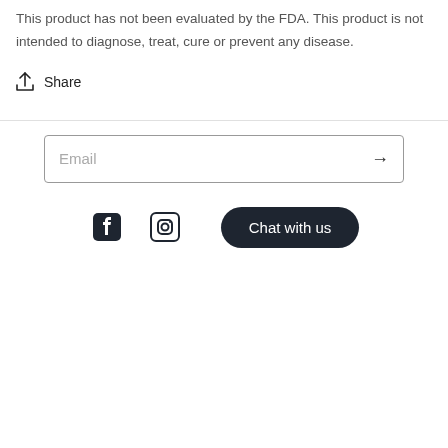This product has not been evaluated by the FDA. This product is not intended to diagnose, treat, cure or prevent any disease.
Share
Email
Chat with us